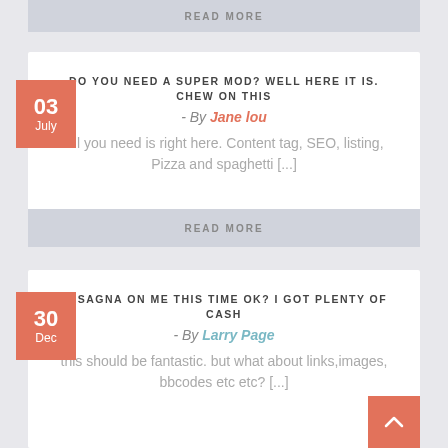READ MORE
DO YOU NEED A SUPER MOD? WELL HERE IT IS. CHEW ON THIS
- By Jane lou
All you need is right here. Content tag, SEO, listing, Pizza and spaghetti [...]
READ MORE
LASAGNA ON ME THIS TIME OK? I GOT PLENTY OF CASH
- By Larry Page
this should be fantastic. but what about links,images, bbcodes etc etc? [...]